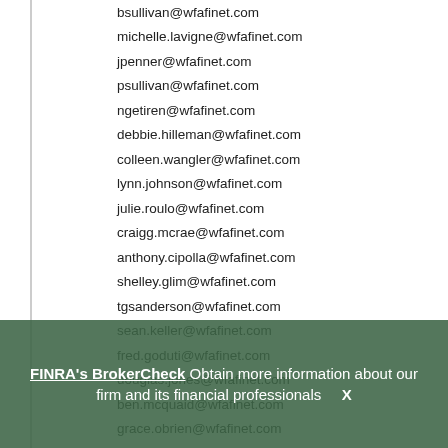bsullivan@wfafinet.com
michelle.lavigne@wfafinet.com
jpenner@wfafinet.com
psullivan@wfafinet.com
ngetiren@wfafinet.com
debbie.hilleman@wfafinet.com
colleen.wangler@wfafinet.com
lynn.johnson@wfafinet.com
julie.roulo@wfafinet.com
craigg.mcrae@wfafinet.com
anthony.cipolla@wfafinet.com
shelley.glim@wfafinet.com
tgsanderson@wfafinet.com
sean.keller@wfafinet.com
fred.goduti@wfafinet.com
douglas.jones@wfafinet.com
ben.mcquaid@wfafinet.com
grace.obrien@wfafinet.com
jeff.altomer@wfafinet.com
alicia.morales-rivera@wfafinet.com
FINRA's BrokerCheck Obtain more information about our firm and its financial professionals  X